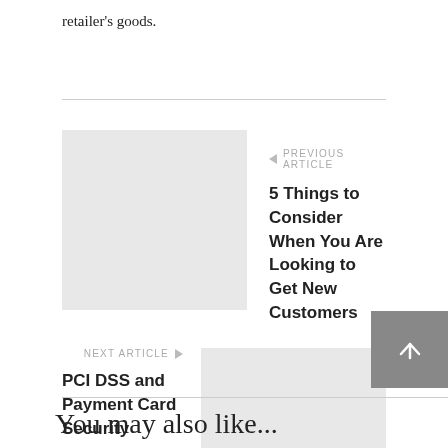retailer's goods.
← PREVIOUS ARTICLE
5 Things to Consider When You Are Looking to Get New Customers
[Figure (other): Gray placeholder thumbnail for previous article]
NEXT ARTICLE →
PCI DSS and Payment Card Security
[Figure (other): Gray placeholder thumbnail for next article]
You may also like...